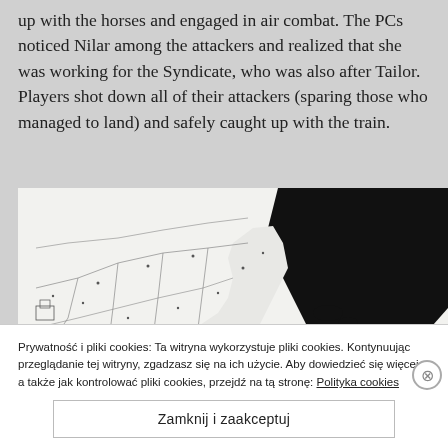up with the horses and engaged in air combat. The PCs noticed Nilar among the attackers and realized that she was working for the Syndicate, who was also after Tailor. Players shot down all of their attackers (sparing those who managed to land) and safely caught up with the train.
[Figure (map): A black and white map showing road networks and terrain, with a large black area in the upper right representing water or a dark region, and infrastructure icons in the lower right.]
Prywatność i pliki cookies: Ta witryna wykorzystuje pliki cookies. Kontynuując przeglądanie tej witryny, zgadzasz się na ich użycie. Aby dowiedzieć się więcej, a także jak kontrolować pliki cookies, przejdź na tą stronę: Polityka cookies
Zamknij i zaakceptuj